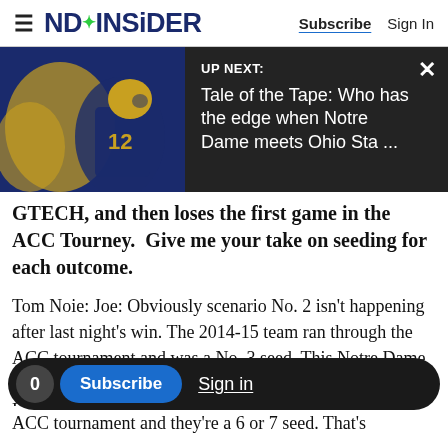NDINSiDER  Subscribe  Sign In
[Figure (screenshot): UP NEXT overlay with Notre Dame football photo thumbnail and text: 'Tale of the Tape: Who has the edge when Notre Dame meets Ohio Sta ...' with close X button]
GTECH, and then loses the first game in the ACC Tourney.  Give me your take on seeding for each outcome.
Tom Noie: Joe: Obviously scenario No. 2 isn't happening after last night's win. The 2014-15 team ran through the ACC tournament and was a No. 3 seed. This Notre Dame team isn't as good as that one, and neither is the league. Having not studied it, like, really studied it, I'd say the Irish
ACC tournament and they're a 6 or 7 seed. That's